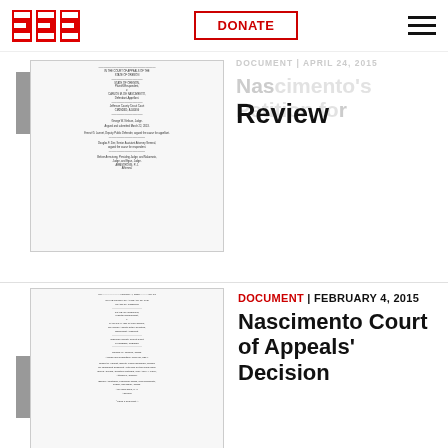EFF | DONATE | navigation menu
[Figure (screenshot): Thumbnail of a legal court document page with multiple columns of small text]
Nascimento's Petition for Review
[Figure (screenshot): Thumbnail of Nascimento Court of Appeals' Decision document, February 4 2015]
DOCUMENT | FEBRUARY 4, 2015
Nascimento Court of Appeals' Decision